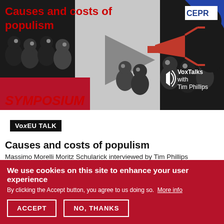[Figure (illustration): Illustrated podcast/symposium cover image showing silhouetted crowd figures facing a speaker holding a red megaphone. Text overlay reads 'Causes and costs of populism', 'SYMPOSIUM', 'VoxTalks with Tim Phillips', 'CEPR'. Background is grey/black with blue corner. A play button triangle is visible in the center.]
VoxEU TALK
Causes and costs of populism
Massimo Morelli Moritz Schularick interviewed by Tim Phillips
We use cookies on this site to enhance your user experience
By clicking the Accept button, you agree to us doing so. More info
ACCEPT
NO, THANKS